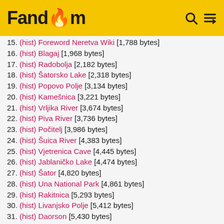Fandom
15. (hist) Foreword Neretva Wiki [1,788 bytes]
16. (hist) Blagaj [1,968 bytes]
17. (hist) Radobolja [2,182 bytes]
18. (hist) Šatorsko Lake [2,318 bytes]
19. (hist) Popovo Polje [3,134 bytes]
20. (hist) Kamešnica [3,221 bytes]
21. (hist) Vrljika River [3,674 bytes]
22. (hist) Piva River [3,736 bytes]
23. (hist) Počitelj [3,986 bytes]
24. (hist) Šuica River [4,383 bytes]
25. (hist) Vjetrenica Cave [4,445 bytes]
26. (hist) Jablaničko Lake [4,474 bytes]
27. (hist) Šator [4,820 bytes]
28. (hist) Una National Park [4,861 bytes]
29. (hist) Rakitnica [5,293 bytes]
30. (hist) Livanjsko Polje [5,412 bytes]
31. (hist) Daorson [5,430 bytes]
32. (hist) Blidinje Lake [6,316 bytes]
33. (hist) Tara River [6,905 bytes]
34. (hist) Krupa River [7,870 bytes]
35. (hist) Una River [7,884 bytes]
36. (hist) Zalomka [9,140 bytes]